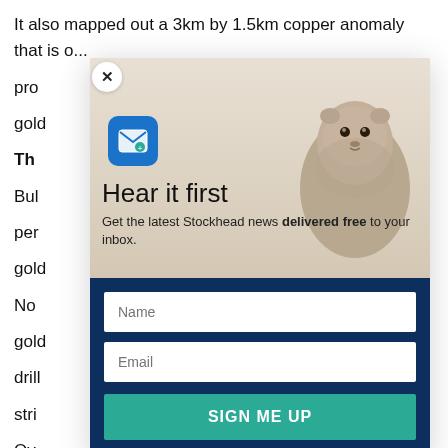It also mapped out a 3km by 1.5km copper anomaly that is o... pro... ng gold... es.
Th...
Bul... ms per... t of gold...
No... ce gold... RC drill... stri...
Ov... ll geo...
[Figure (screenshot): Newsletter signup modal popup with close button (X), email icon, groundhog photo background, title 'Hear it first', subtitle 'Get the latest Stockhead news delivered free to your inbox.', Name input field, Email input field, and 'SIGN ME UP' button on dark navy background.]